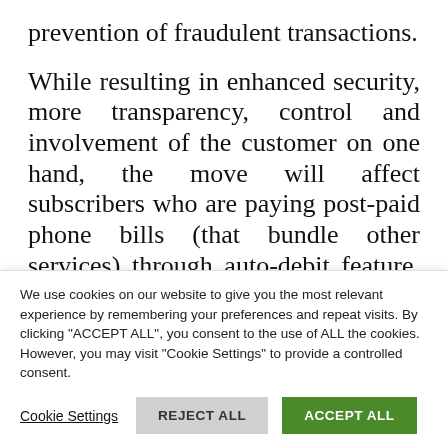prevention of fraudulent transactions.
While resulting in enhanced security, more transparency, control and involvement of the customer on one hand, the move will affect subscribers who are paying post-paid phone bills (that bundle other services) through auto-debit feature, said Ramesh Narasimhan, head, digital commerce, Worldline India, a company offering payment solutions for physical and online
We use cookies on our website to give you the most relevant experience by remembering your preferences and repeat visits. By clicking "ACCEPT ALL", you consent to the use of ALL the cookies. However, you may visit "Cookie Settings" to provide a controlled consent.
Cookie Settings  REJECT ALL  ACCEPT ALL